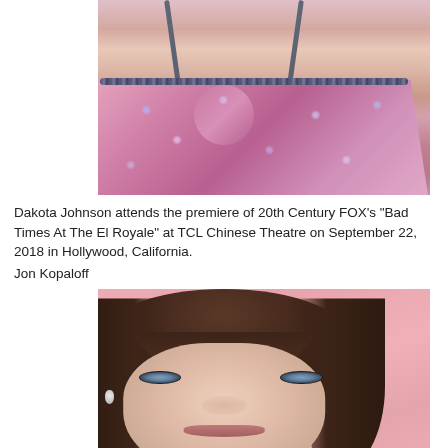[Figure (photo): Close-up photo of a woman's upper body wearing a pink sparkly spaghetti-strap dress with beaded/jeweled neckline and embellishments, skin visible above the neckline]
Dakota Johnson attends the premiere of 20th Century FOX's "Bad Times At The El Royale" at TCL Chinese Theatre on September 22, 2018 in Hollywood, California.
Jon Kopaloff
[Figure (photo): Close-up portrait photo of a woman (Dakota Johnson) with brown hair and bangs, light blue-green eyes, wearing a diamond/pearl earring, photographed against a pink background with a white banner/sign visible behind her]